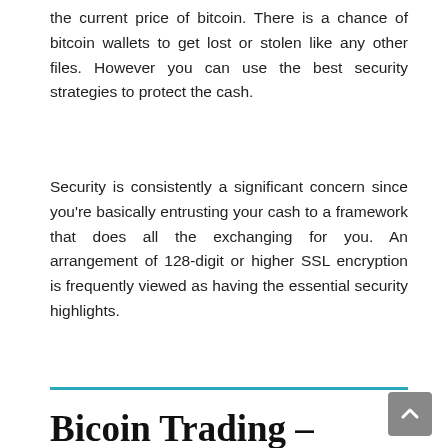the current price of bitcoin. There is a chance of bitcoin wallets to get lost or stolen like any other files. However you can use the best security strategies to protect the cash.
Security is consistently a significant concern since you're basically entrusting your cash to a framework that does all the exchanging for you. An arrangement of 128-digit or higher SSL encryption is frequently viewed as having the essential security highlights.
Bicoin Trading – Beginning Basics